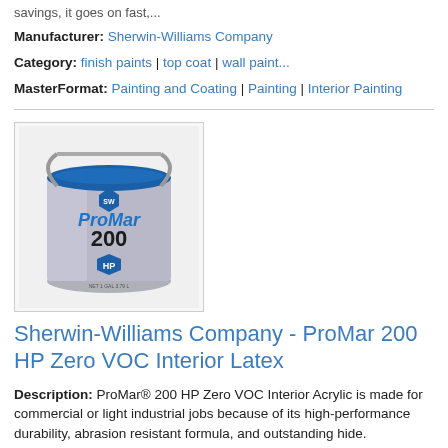savings, it goes on fast,...
Manufacturer: Sherwin-Williams Company
Category: finish paints | top coat | wall paint...
MasterFormat: Painting and Coating | Painting | Interior Painting
[Figure (photo): Paint can for Sherwin-Williams ProMar 200 HP Zero VOC Interior Latex product]
Sherwin-Williams Company - ProMar 200 HP Zero VOC Interior Latex
Description: ProMar® 200 HP Zero VOC Interior Acrylic is made for commercial or light industrial jobs because of its high-performance durability, abrasion resistant formula, and outstanding hide.